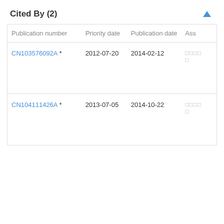Cited By (2)
| Publication number | Priority date | Publication date | Ass |
| --- | --- | --- | --- |
| CN103576092A * | 2012-07-20 | 2014-02-12 | □□□□□ |
| CN104111426A * | 2013-07-05 | 2014-10-22 | □□□□□ |